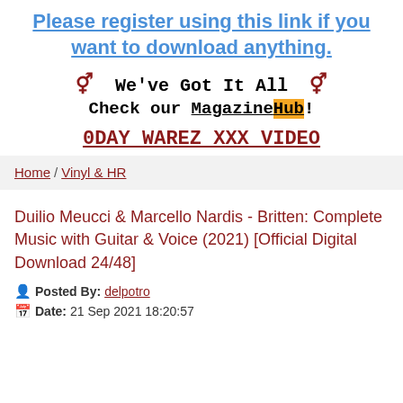Please register using this link if you want to download anything.
♀♂ We've Got It All ♀♂
Check our MagazineHub!
0DAY WAREZ XXX VIDEO
Home / Vinyl & HR
Duilio Meucci & Marcello Nardis - Britten: Complete Music with Guitar & Voice (2021) [Official Digital Download 24/48]
Posted By: delpotro
Date: 21 Sep 2021 18:20:57